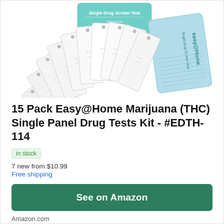[Figure (photo): Product photo of Easy@Home 15 Pack Marijuana (THC) Single Panel Drug Tests Kit. Shows multiple white test strip packets fanned out, with a teal/green branded box behind them labeled 'Single Drug Screen Test' and a light blue card on the right labeled 'easy@Home Single Drug Screen Test'.]
15 Pack Easy@Home Marijuana (THC) Single Panel Drug Tests Kit - #EDTH-114
in stock
7 new from $10.99
Free shipping
See on Amazon
Amazon.com